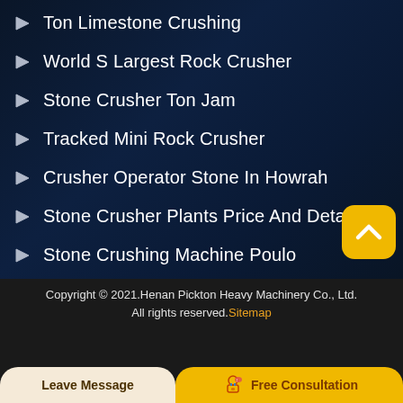Ton Limestone Crushing
World S Largest Rock Crusher
Stone Crusher Ton Jam
Tracked Mini Rock Crusher
Crusher Operator Stone In Howrah
Stone Crusher Plants Price And Details
Stone Crushing Machine Poulo
Copyright © 2021.Henan Pickton Heavy Machinery Co., Ltd. All rights reserved. Sitemap
[Figure (illustration): Scroll-up button: orange rounded square with a chevron-up icon]
[Figure (illustration): Bottom bar with Leave Message (cream) and Free Consultation (yellow) buttons with a consultant icon]